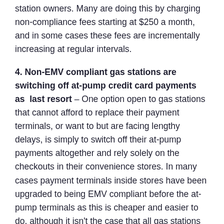station owners. Many are doing this by charging non-compliance fees starting at $250 a month, and in some cases these fees are incrementally increasing at regular intervals.
4. Non-EMV compliant gas stations are switching off at-pump credit card payments as last resort – One option open to gas stations that cannot afford to replace their payment terminals, or want to but are facing lengthy delays, is simply to switch off their at-pump payments altogether and rely solely on the checkouts in their convenience stores. In many cases payment terminals inside stores have been upgraded to being EMV compliant before the at-pump terminals as this is cheaper and easier to do, although it isn't the case that all gas stations have done this yet.
Switching off at-pump payments would eliminate